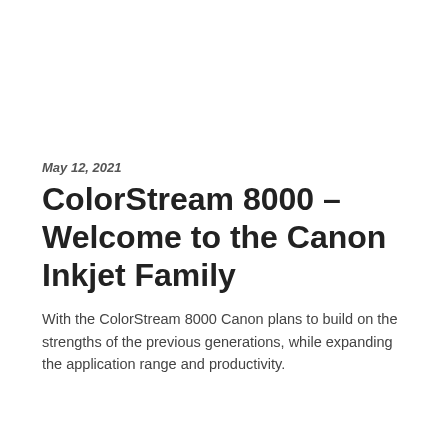May 12, 2021
ColorStream 8000 – Welcome to the Canon Inkjet Family
With the ColorStream 8000 Canon plans to build on the strengths of the previous generations, while expanding the application range and productivity.